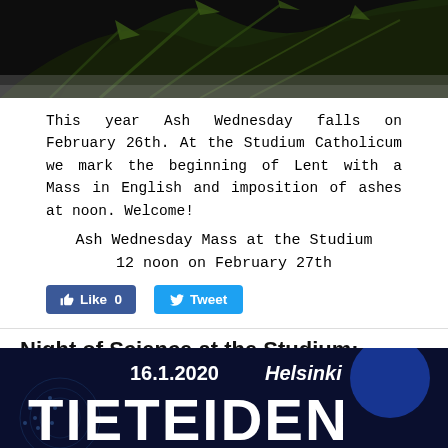[Figure (photo): Dark background with green plant leaves/branches photographed from above]
This year Ash Wednesday falls on February 26th. At the Studium Catholicum we mark the beginning of Lent with a Mass in English and imposition of ashes at noon. Welcome!
Ash Wednesday Mass at the Studium
12 noon on February 27th
[Figure (screenshot): Facebook Like button showing Like 0 and Twitter Tweet button]
Night of Science at the Studium: Jeanne d'Arc
9/12/2019
[Figure (photo): Dark blue promotional banner showing '16.1.2020 Helsinki' and 'TIETEIDEN' text for a Night of Science event]